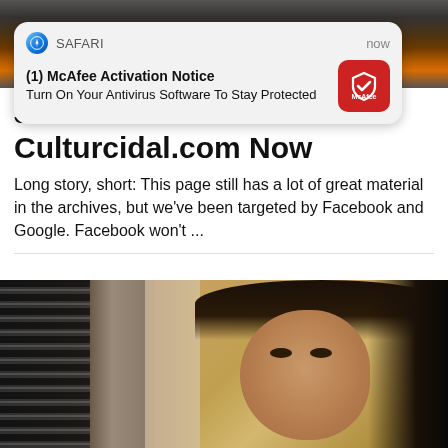[Figure (photo): Dark background with fire/city scene, partially obscured by notification popup]
[Figure (screenshot): Safari browser push notification popup reading: (1) McAfee Activation Notice — Turn On Your Antivirus Software To Stay Protected, with McAfee red logo icon on right]
John Hawkins is at Culturcidal.com Now
Long story, short: This page still has a lot of great material in the archives, but we've been targeted by Facebook and Google. Facebook won't ...
[Figure (photo): Photo of a woman with dark hair, against a blurred background with window blinds on the left and a yellow/golden background on the right]